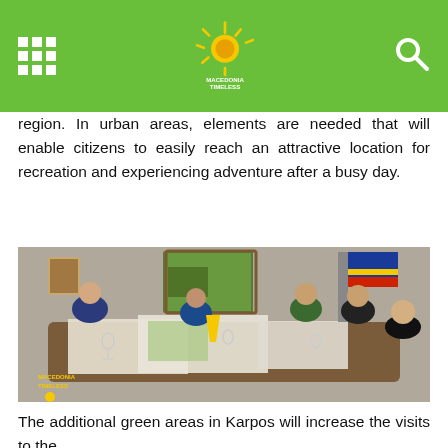Macedonia Timeless (header navigation with logo)
region. In urban areas, elements are needed that will enable citizens to easily reach an attractive location for recreation and experiencing adventure after a busy day.
[Figure (photo): A meeting scene in an office with five people seated around a conference table covered with maps and documents. There is a painting on the wall in the background and a flag. The Macedonia Timeless logo is watermarked in the lower left corner.]
The additional green areas in Karpos will increase the visits to the